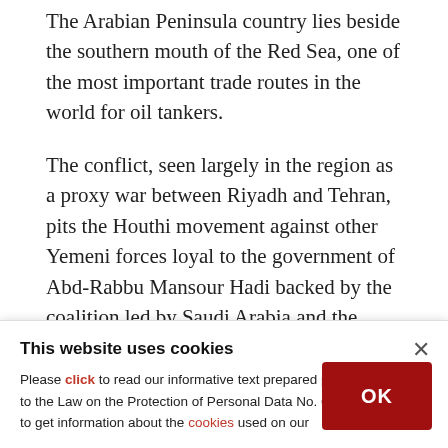The Arabian Peninsula country lies beside the southern mouth of the Red Sea, one of the most important trade routes in the world for oil tankers.
The conflict, seen largely in the region as a proxy war between Riyadh and Tehran, pits the Houthi movement against other Yemeni forces loyal to the government of Abd-Rabbu Mansour Hadi backed by the coalition led by Saudi Arabia and the UAE.
The Houthis, who have fired missiles on Saudi
This website uses cookies
Please click to read our informative text prepared pursuant to the Law on the Protection of Personal Data No. 6698 and to get information about the cookies used on our